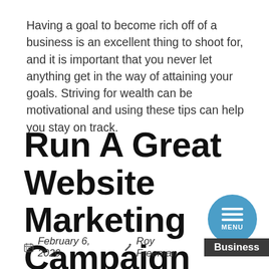Having a goal to become rich off of a business is an excellent thing to shoot for, and it is important that you never let anything get in the way of attaining your goals. Striving for wealth can be motivational and using these tips can help you stay on track.
Run A Great Website Marketing Campaign With These Tips
February 6, 2020  Roy Freeman  Business